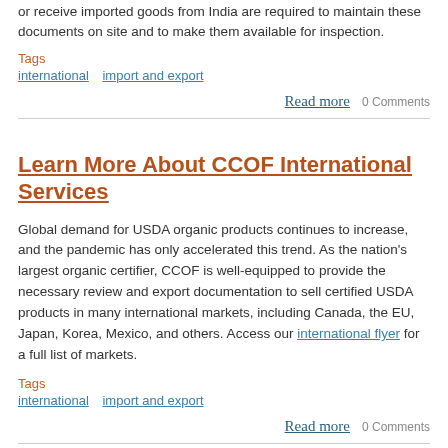or receive imported goods from India are required to maintain these documents on site and to make them available for inspection.
Tags
international   import and export
Read more   0 Comments
Learn More About CCOF International Services
Global demand for USDA organic products continues to increase, and the pandemic has only accelerated this trend. As the nation's largest organic certifier, CCOF is well-equipped to provide the necessary review and export documentation to sell certified USDA products in many international markets, including Canada, the EU, Japan, Korea, Mexico, and others. Access our international flyer for a full list of markets.
Tags
international   import and export
Read more   0 Comments